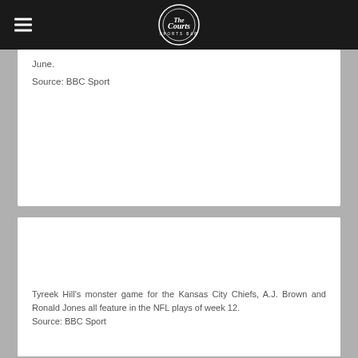[Navigation bar with hamburger menu and The Courts logo]
June.
Source: BBC Sport
TYREEK HILL, PATRICK MAHOMES & TOM BRADY ALL FEATURE IN NFL PLAYS OF WEEK 12
30th November 2020  The Courts Colchester  RSS Feed  Sports news
Tyreek Hill's monster game for the Kansas City Chiefs, A.J. Brown and Ronald Jones all feature in the NFL plays of week 12.
Source: BBC Sport